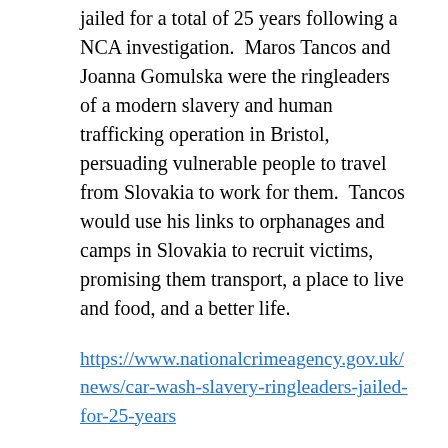jailed for a total of 25 years following a NCA investigation.  Maros Tancos and Joanna Gomulska were the ringleaders of a modern slavery and human trafficking operation in Bristol, persuading vulnerable people to travel from Slovakia to work for them.  Tancos would use his links to orphanages and camps in Slovakia to recruit victims, promising them transport, a place to live and food, and a better life.
https://www.nationalcrimeagency.gov.uk/news/car-wash-slavery-ringleaders-jailed-for-25-years
UK: 2 BROTHERS FROM THE BRADFORD AREA